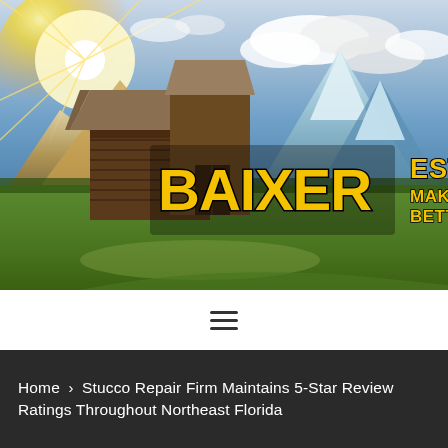[Figure (photo): Outdoor landscape photo showing a rustic log barn with a wooden structure, set against mountains and a dramatic sky with sunbeams and clouds. Overlaid with the Baixer Estate logo in large bold yellow distressed lettering reading 'BAIXER ESTATE MAKING LIVING BETTER'.]
[Figure (other): Hamburger menu icon (three horizontal lines) centered in a white navigation bar]
Home > Stucco Repair Firm Maintains 5-Star Review Ratings Throughout Northeast Florida